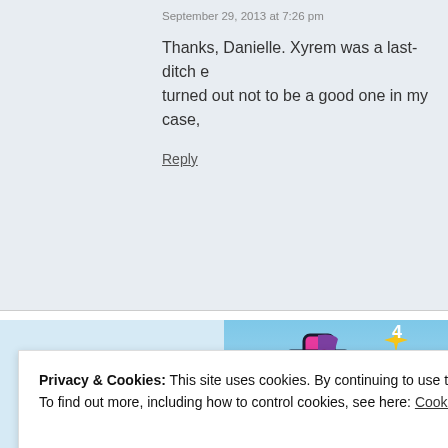September 29, 2013 at 7:26 pm
Thanks, Danielle. Xyrem was a last-ditch e turned out not to be a good one in my case,
Reply
[Figure (screenshot): Tumblr AD-FREE advertisement banner with Tumblr logo (pink and purple 't' with sparkles) on a blue sky background]
Privacy & Cookies: This site uses cookies. By continuing to use this website, you agree to their use.
To find out more, including how to control cookies, see here: Cookie Policy
Close and accept